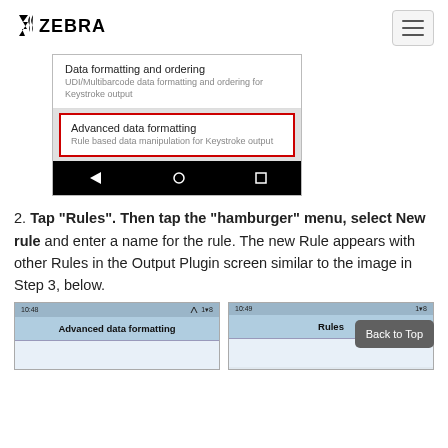Zebra Technologies
[Figure (screenshot): Android device screenshot showing a menu with 'Data formatting and ordering' and 'Advanced data formatting' options. The 'Advanced data formatting' item is highlighted with a red border.]
2. Tap "Rules". Then tap the "hamburger" menu, select New rule and enter a name for the rule. The new Rule appears with other Rules in the Output Plugin screen similar to the image in Step 3, below.
[Figure (screenshot): Two Android device screenshots side by side. Left shows 'Advanced data formatting' screen at 10:48. Right shows 'Rules' screen at 10:49. A 'Back to Top' button overlays the right side.]